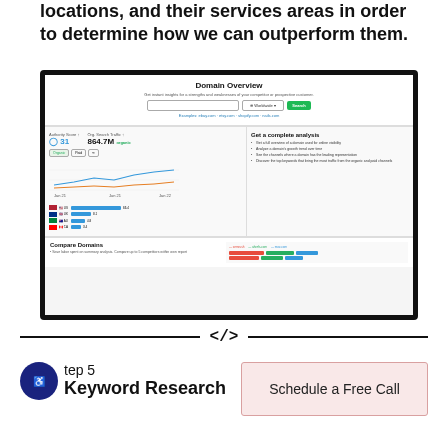locations, and their services areas in order to determine how we can outperform them.
[Figure (screenshot): Screenshot of the SEMrush Domain Overview tool, showing a search interface, domain analytics with authority score and organic search traffic, a line chart, top countries bar graphs, a 'Get a complete analysis' panel with bullet points, and a 'Compare Domains' section at the bottom.]
</> divider
Step 5
Keyword Research
Schedule a Free Call